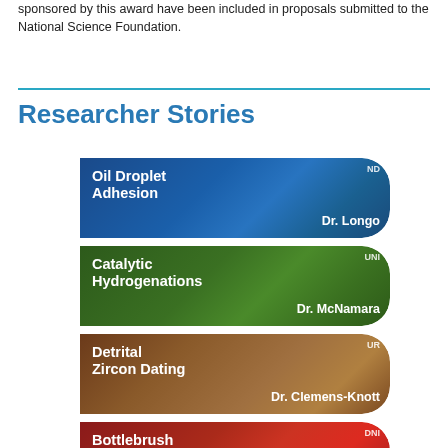sponsored by this award have been included in proposals submitted to the National Science Foundation.
Researcher Stories
[Figure (illustration): Card panel showing Oil Droplet Adhesion research story by Dr. Longo, with blue background and ND label]
[Figure (illustration): Card panel showing Catalytic Hydrogenations research story by Dr. McNamara, with green background and UNI label]
[Figure (illustration): Card panel showing Detrital Zircon Dating research story by Dr. Clemens-Knott, with earth-tone background and UR label]
[Figure (illustration): Partial card panel showing Bottlebrush Polymers research story, with red background and DNI label]